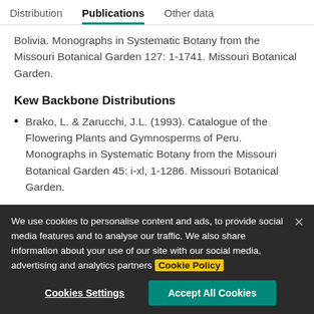Distribution | Publications | Other data
Bolivia. Monographs in Systematic Botany from the Missouri Botanical Garden 127: 1-1741. Missouri Botanical Garden.
Kew Backbone Distributions
Brako, L. & Zarucchi, J.L. (1993). Catalogue of the Flowering Plants and Gymnosperms of Peru. Monographs in Systematic Botany from the Missouri Botanical Garden 45: i-xl, 1-1286. Missouri Botanical Garden.
We use cookies to personalise content and ads, to provide social media features and to analyse our traffic. We also share information about your use of our site with our social media, advertising and analytics partners Cookie Policy